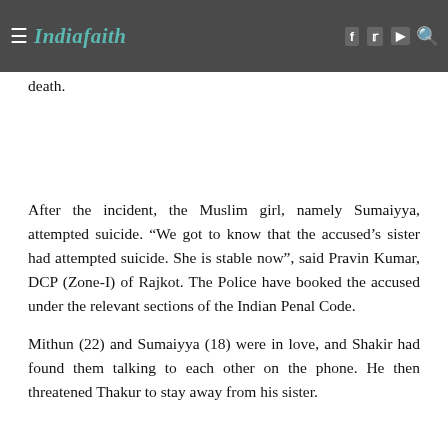Indiafaith
Sumaiyya Kadivaar and their inter-faith relationship was disapproved by the accused. He, along with his three unnamed associated, went to Thakur's house in Rajkot and beat him to death.
After the incident, the Muslim girl, namely Sumaiyya, attempted suicide. “We got to know that the accused’s sister had attempted suicide. She is stable now”, said Pravin Kumar, DCP (Zone-I) of Rajkot. The Police have booked the accused under the relevant sections of the Indian Penal Code.
Mithun (22) and Sumaiyya (18) were in love, and Shakir had found them talking to each other on the phone. He then threatened Thakur to stay away from his sister.